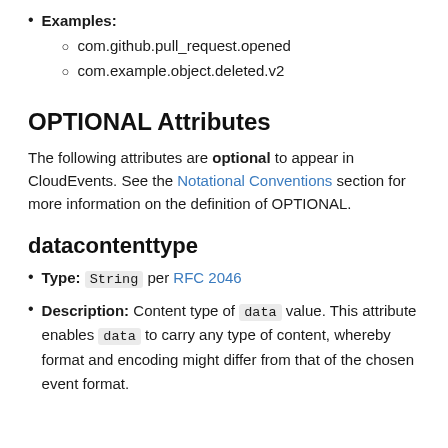Examples:
com.github.pull_request.opened
com.example.object.deleted.v2
OPTIONAL Attributes
The following attributes are optional to appear in CloudEvents. See the Notational Conventions section for more information on the definition of OPTIONAL.
datacontenttype
Type: String per RFC 2046
Description: Content type of data value. This attribute enables data to carry any type of content, whereby format and encoding might differ from that of the chosen event format.